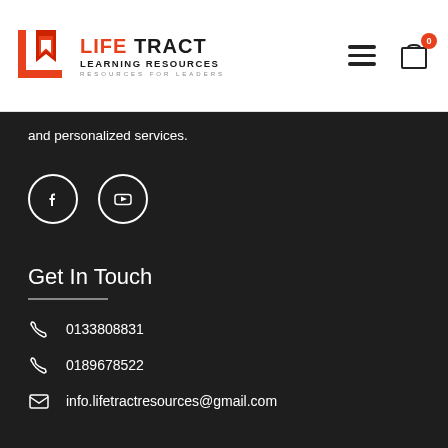[Figure (logo): Life Tract Learning Resources logo with orange/red L icon and text]
and personalized services.
[Figure (illustration): Facebook and YouTube social media icons in white circles on dark background]
Get In Touch
0133808831
0189678522
info.lifetractresources@gmail.com